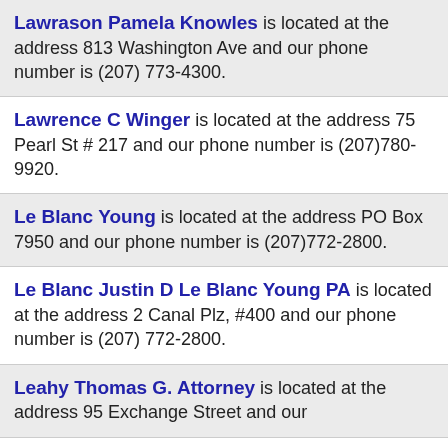Lawrason Pamela Knowles is located at the address 813 Washington Ave and our phone number is (207) 773-4300.
Lawrence C Winger is located at the address 75 Pearl St # 217 and our phone number is (207)780-9920.
Le Blanc Young is located at the address PO Box 7950 and our phone number is (207)772-2800.
Le Blanc Justin D Le Blanc Young PA is located at the address 2 Canal Plz, #400 and our phone number is (207) 772-2800.
Leahy Thomas G. Attorney is located at the address 95 Exchange Street and our